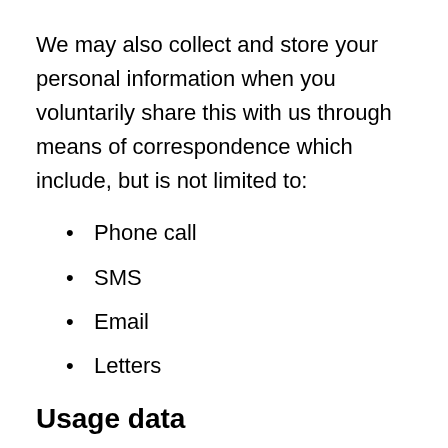We may also collect and store your personal information when you voluntarily share this with us through means of correspondence which include, but is not limited to:
Phone call
SMS
Email
Letters
Usage data
Usage data is collected at the hand of: